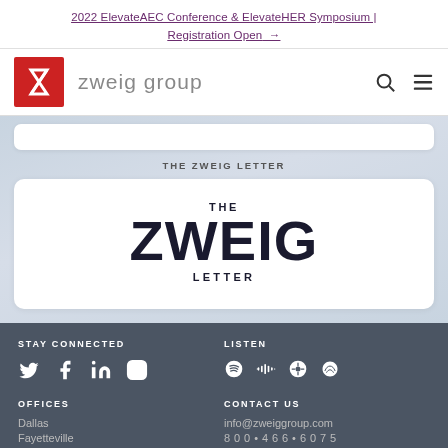2022 ElevateAEC Conference & ElevateHER Symposium | Registration Open →
[Figure (logo): Zweig Group logo: red square with white slash/arrow icon, followed by 'zweig group' in light gray sans-serif text]
THE ZWEIG LETTER
[Figure (logo): The Zweig Letter logo: dark navy text reading THE (small caps) ZWEIG (large bold) LETTER (spaced caps) on white card]
STAY CONNECTED | LISTEN | OFFICES | CONTACT US | Dallas | Fayetteville | info@zweiggroup.com
Dallas
Fayetteville
info@zweiggroup.com